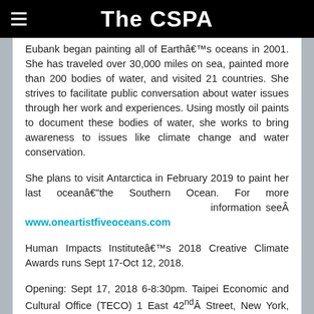The CSPA
Eubank began painting all of Earth’s oceans in 2001. She has traveled over 30,000 miles on sea, painted more than 200 bodies of water, and visited 21 countries. She strives to facilitate public conversation about water issues through her work and experiences. Using mostly oil paints to document these bodies of water, she works to bring awareness to issues like climate change and water conservation.
She plans to visit Antarctica in February 2019 to paint her last ocean—the Southern Ocean. For more information see www.oneartistfiveoceans.com
Human Impacts Institute’s 2018 Creative Climate Awards runs Sept 17-Oct 12, 2018.
Opening: Sept 17, 2018 6-8:30pm. Taipei Economic and Cultural Office (TECO) 1 East 42nd Street, New York, NY 10017 https://www.humanimpactsinstitute.org/creative-